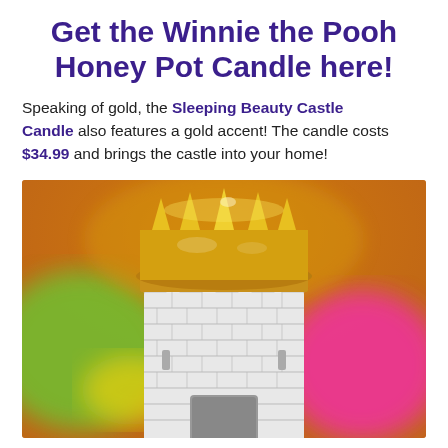Get the Winnie the Pooh Honey Pot Candle here!
Speaking of gold, the Sleeping Beauty Castle Candle also features a gold accent! The candle costs $34.99 and brings the castle into your home!
[Figure (photo): Close-up photo of a Sleeping Beauty Castle candle shaped like a white stone castle tower with a shiny gold crown on top, set against a colorful blurred background with green, yellow, and pink bokeh.]